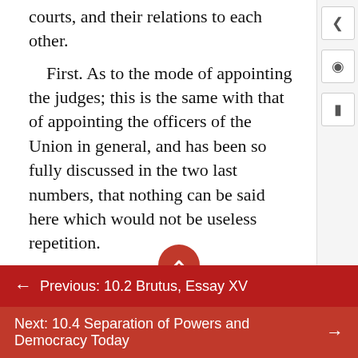courts, and their relations to each other.
First. As to the mode of appointing the judges; this is the same with that of appointing the officers of the Union in general, and has been so fully discussed in the two last numbers, that nothing can be said here which would not be useless repetition.
Second. As to the tenure by which the judges are to hold their places; this chiefly concerns their duration in office; the provisions for their support; the precautions for their responsibility.
According to the plan of the convention, all judges who may be appointed by the United
← Previous: 10.2 Brutus, Essay XV
Next: 10.4 Separation of Powers and Democracy Today →